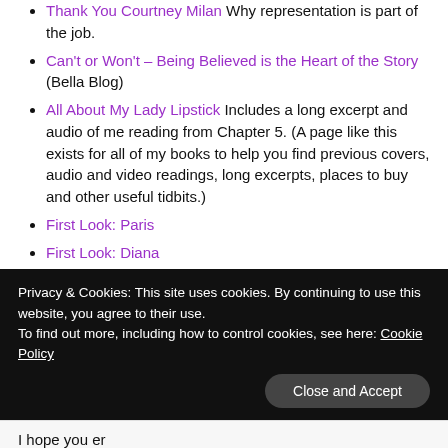Thank You Courtney Milan Why representation is part of the job.
Can't or Won't – Being Believed is the Heart of the Story (Bella Blog)
All About My Lady Lipstick Includes a long excerpt and audio of me reading from Chapter 5. (A page like this exists for all of my books to help you find previous covers, audio and video readings, long excerpts, places to buy and other useful tidbits.)
First Look: Paris
First Look: Diana
Privacy & Cookies: This site uses cookies. By continuing to use this website, you agree to their use. To find out more, including how to control cookies, see here: Cookie Policy
I hope you er